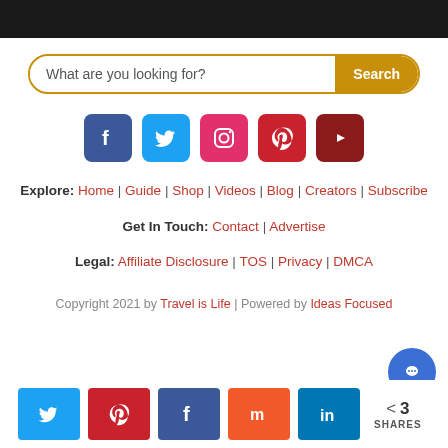[Figure (screenshot): Search bar with placeholder 'What are you looking for?' and gold Search button]
[Figure (infographic): Social media icon row: Facebook, Twitter, Instagram, Pinterest, YouTube]
Explore: Home | Guide | Shop | Videos | Blog | Creators | Subscribe
Get In Touch: Contact | Advertise
Legal: Affiliate Disclosure | TOS | Privacy | DMCA
Copyright 2021 by Travel is Life | Powered by Ideas Focused
[Figure (infographic): Share bar with Twitter, Pinterest, Facebook, Mix, LinkedIn buttons and share count 3x SHARES, plus chat bubble icon]